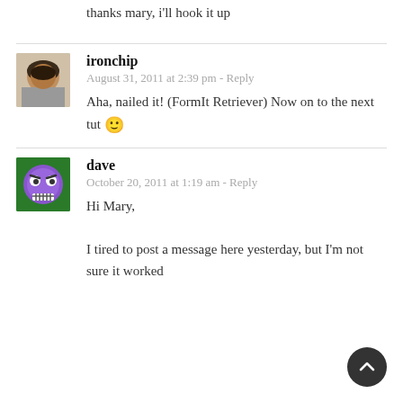thanks mary, i'll hook it up
ironchip
August 31, 2011 at 2:39 pm - Reply
Aha, nailed it! (FormIt Retriever) Now on to the next tut 🙂
dave
October 20, 2011 at 1:19 am - Reply
Hi Mary,

I tired to post a message here yesterday, but I'm not sure it worked